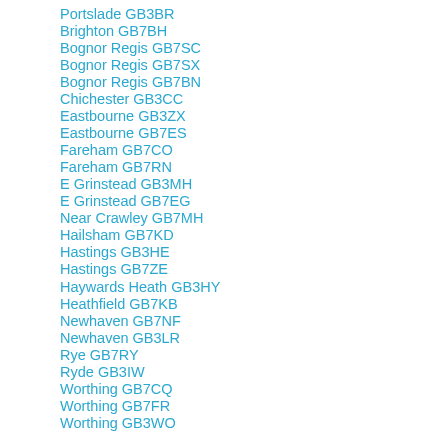Portslade GB3BR
Brighton GB7BH
Bognor Regis GB7SC
Bognor Regis GB7SX
Bognor Regis GB7BN
Chichester GB3CC
Eastbourne GB3ZX
Eastbourne GB7ES
Fareham GB7CO
Fareham GB7RN
E Grinstead GB3MH
E Grinstead GB7EG
Near Crawley GB7MH
Hailsham GB7KD
Hastings GB3HE
Hastings GB7ZE
Haywards Heath GB3HY
Heathfield GB7KB
Newhaven GB7NF
Newhaven GB3LR
Rye GB7RY
Ryde GB3IW
Worthing GB7CQ
Worthing GB7FR
Worthing GB3WO